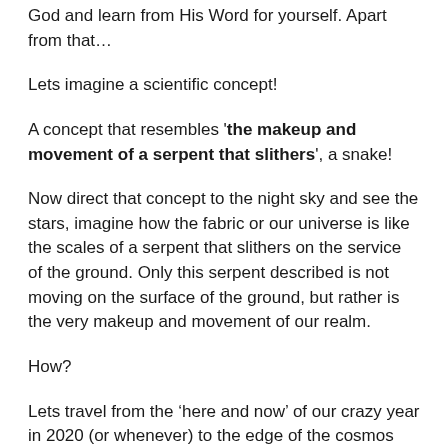God and learn from His Word for yourself. Apart from that…
Lets imagine a scientific concept!
A concept that resembles 'the makeup and movement of a serpent that slithers', a snake!
Now direct that concept to the night sky and see the stars, imagine how the fabric or our universe is like the scales of a serpent that slithers on the service of the ground. Only this serpent described is not moving on the surface of the ground, but rather is the very makeup and movement of our realm.
How?
Lets travel from the ‘here and now’ of our crazy year in 2020 (or whenever) to the edge of the cosmos where our universe started. We’ve theorized this concept as, “The Big Bang!”. And that is where we reach the head and tongue of this snake, our